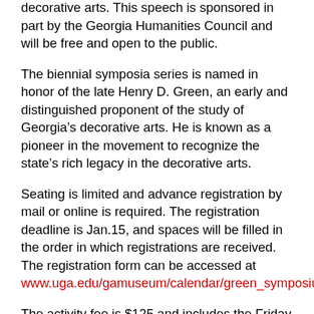decorative arts. This speech is sponsored in part by the Georgia Humanities Council and will be free and open to the public.
The biennial symposia series is named in honor of the late Henry D. Green, an early and distinguished proponent of the study of Georgia’s decorative arts. He is known as a pioneer in the movement to recognize the state’s rich legacy in the decorative arts.
Seating is limited and advance registration by mail or online is required. The registration deadline is Jan.15, and spaces will be filled in the order in which registrations are received. The registration form can be accessed at www.uga.edu/gamuseum/calendar/green_symposium.html.
The activity fee is $125 and includes the Friday afternoon bus tour of five historic houses and refreshments, a Friday evening buffet prior to the keynote lecture Friday evening, Saturday symposium admission and Saturday buffet lunch.